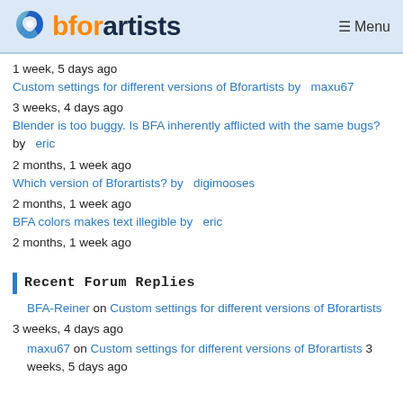bforartists — Menu
1 week, 5 days ago
Custom settings for different versions of Bforartists by maxu67
3 weeks, 4 days ago
Blender is too buggy. Is BFA inherently afflicted with the same bugs? by eric
2 months, 1 week ago
Which version of Bforartists? by digimooses
2 months, 1 week ago
BFA colors makes text illegible by eric
2 months, 1 week ago
Recent Forum Replies
BFA-Reiner on Custom settings for different versions of Bforartists
3 weeks, 4 days ago
maxu67 on Custom settings for different versions of Bforartists 3 weeks, 5 days ago